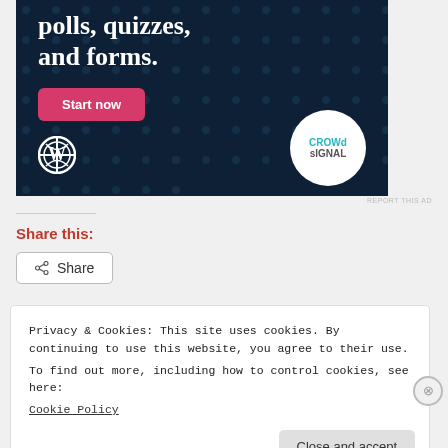[Figure (screenshot): Advertisement banner with dark navy background showing WordPress and Crowdsignal logos, text 'polls, quizzes, and forms.' with a pink 'Start now' button]
REPORT THIS AD
Share this:
Share
Privacy & Cookies: This site uses cookies. By continuing to use this website, you agree to their use.
To find out more, including how to control cookies, see here:
Cookie Policy
Close and accept